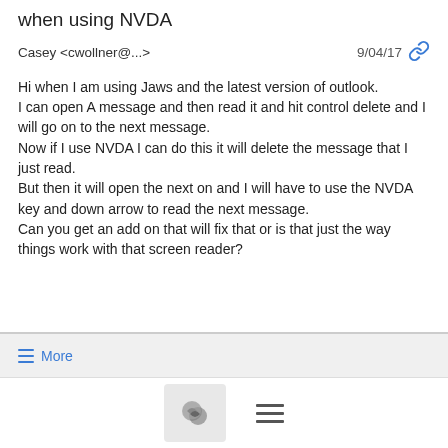when using NVDA
Casey <cwollner@...>
9/04/17
Hi when I am using Jaws and the latest version of outlook.
I can open A message and then read it and hit control delete and I will go on to the next message.
Now if I use NVDA I can do this it will delete the message that I just read.
But then it will open the next on and I will have to use the NVDA key and down arrow to read the next message.
Can you get an add on that will fix that or is that just the way things work with that screen reader?
≡ More